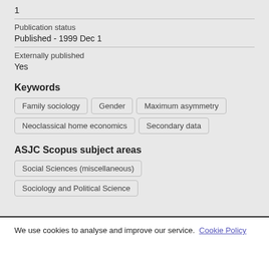1
Publication status
Published - 1999 Dec 1
Externally published
Yes
Keywords
Family sociology
Gender
Maximum asymmetry
Neoclassical home economics
Secondary data
ASJC Scopus subject areas
Social Sciences (miscellaneous)
Sociology and Political Science
We use cookies to analyse and improve our service. Cookie Policy